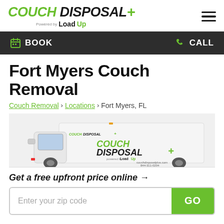[Figure (logo): Couch Disposal Plus logo powered by LoadUp, with green italic COUCH text, black italic DISPOSAL text, green plus sign, and 'Powered by LoadUp' tagline below]
[Figure (illustration): Hamburger menu icon (three horizontal lines) in top right corner]
BOOK   CALL
Fort Myers Couch Removal
Couch Removal › Locations › Fort Myers, FL
[Figure (photo): White Couch Disposal Plus branded box truck showing the logo on the side, with couchdisposalplus.com and 844-311-0204 printed on the truck. The truck is photographed from a 3/4 front angle.]
Get a free upfront price online →
Enter your zip code